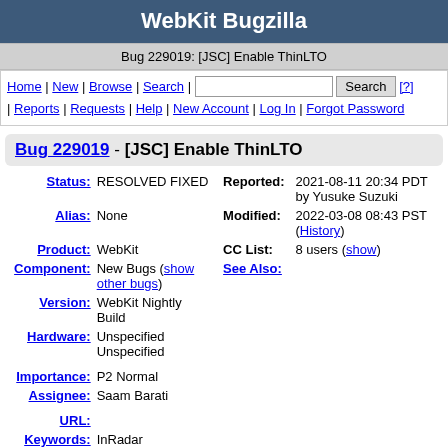WebKit Bugzilla
Bug 229019: [JSC] Enable ThinLTO
Home | New | Browse | Search | [Search box] Search [?] | Reports | Requests | Help | New Account | Log In | Forgot Password
Bug 229019 - [JSC] Enable ThinLTO
| Field | Value | Field | Value |
| --- | --- | --- | --- |
| Status: | RESOLVED FIXED | Reported: | 2021-08-11 20:34 PDT by Yusuke Suzuki |
| Alias: | None | Modified: | 2022-03-08 08:43 PST (History) |
| Product: | WebKit | CC List: | 8 users (show) |
| Component: | New Bugs (show other bugs) | See Also: |  |
| Version: | WebKit Nightly Build |  |  |
| Hardware: | Unspecified Unspecified |  |  |
| Importance: | P2 Normal |  |  |
| Assignee: | Saam Barati |  |  |
| URL: |  |  |  |
| Keywords: | InRadar |  |  |